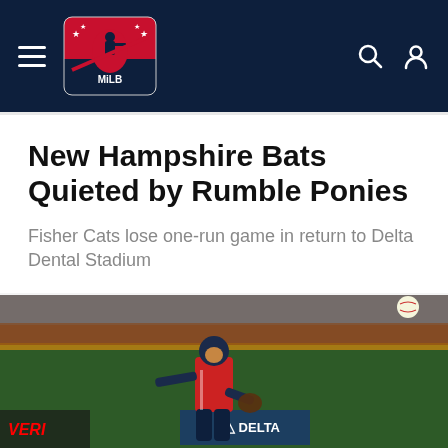Minor League Baseball navigation bar with hamburger menu, MiLB logo, search icon, and user icon
New Hampshire Bats Quieted by Rumble Ponies
Fisher Cats lose one-run game in return to Delta Dental Stadium
[Figure (photo): A baseball pitcher in a red New Hampshire Fisher Cats uniform mid-throw on the field at Delta Dental Stadium, with a brick wall and green fence advertising boards visible in the background. A baseball can be seen in the upper right corner.]